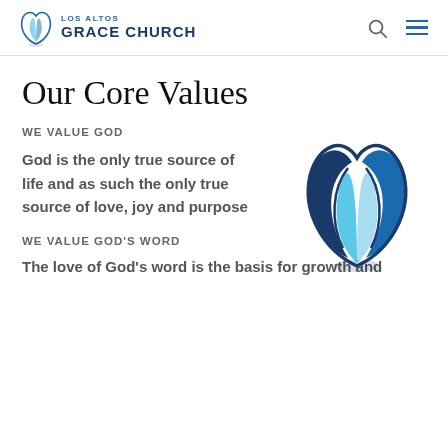LOS ALTOS GRACE CHURCH
Our Core Values
WE VALUE GOD
God is the only true source of life and as such the only true source of love, joy and purpose
[Figure (logo): Los Altos Grace Church flame/leaf logo mark in blue tones]
WE VALUE GOD'S WORD
The love of God's word is the basis for growth and